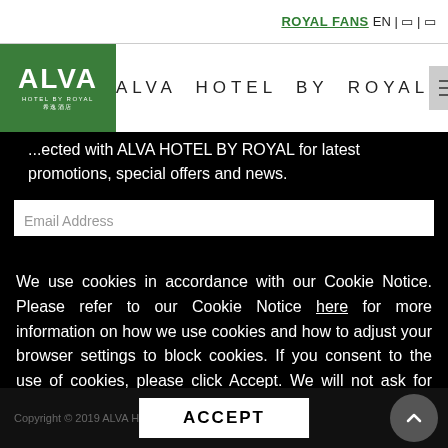ROYAL FANS EN | | |
ALVA HOTEL BY ROYAL
...ected with ALVA HOTEL BY ROYAL for latest promotions, special offers and news.
We use cookies in accordance with our Cookie Notice. Please refer to our Cookie Notice here for more information on how we use cookies and how to adjust your browser settings to block cookies. If you consent to the use of cookies, please click Accept. We will not ask for consent for strictly necessary cookies, but if you choose to block strictly necessary cookies this may affect your website experience.
Copyright © 2019 ALVA Hotel By Royal. All rights reserved.